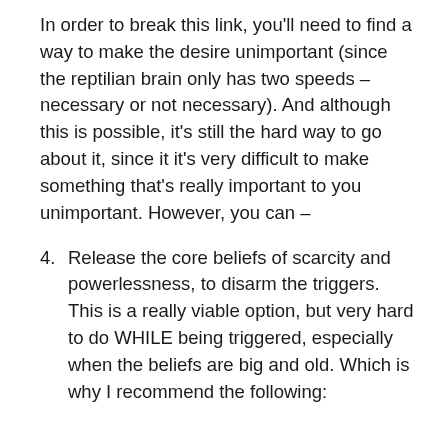In order to break this link, you'll need to find a way to make the desire unimportant (since the reptilian brain only has two speeds – necessary or not necessary). And although this is possible, it's still the hard way to go about it, since it it's very difficult to make something that's really important to you unimportant. However, you can –
4. Release the core beliefs of scarcity and powerlessness, to disarm the triggers. This is a really viable option, but very hard to do WHILE being triggered, especially when the beliefs are big and old. Which is why I recommend the following: